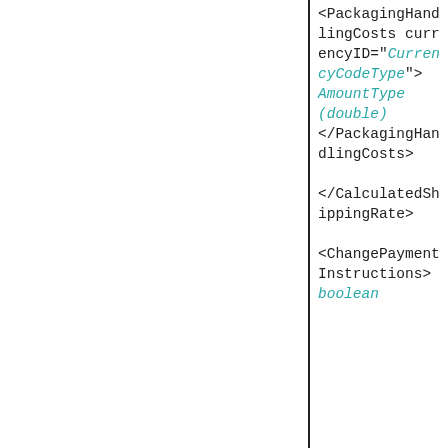<PackagingHandlingCosts currencyID="CurrencyCodeType"> AmountType (double) </PackagingHandlingCosts>

</CalculatedShippingRate>

<ChangePaymentInstructions> boolean